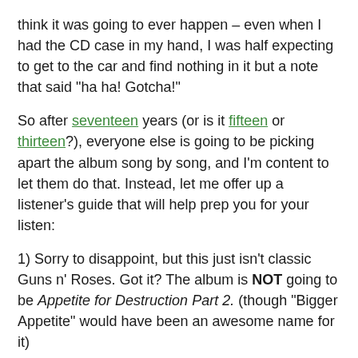think it was going to ever happen – even when I had the CD case in my hand, I was half expecting to get to the car and find nothing in it but a note that said "ha ha! Gotcha!"
So after seventeen years (or is it fifteen or thirteen?), everyone else is going to be picking apart the album song by song, and I'm content to let them do that.  Instead, let me offer up a listener's guide that will help prep you for your listen:
1) Sorry to disappoint, but this just isn't classic Guns n' Roses.  Got it?  The album is NOT going to be Appetite for Destruction Part 2.  (though "Bigger Appetite" would have been an awesome name for it)
2) If you want to hear retro music, then listen to something that came out then.   Rose has been sitting in a studio full of computers and post-post-modern guitarists for the past decade.  The stuff isn't gonna sound like Los Angeles, circa 1984.